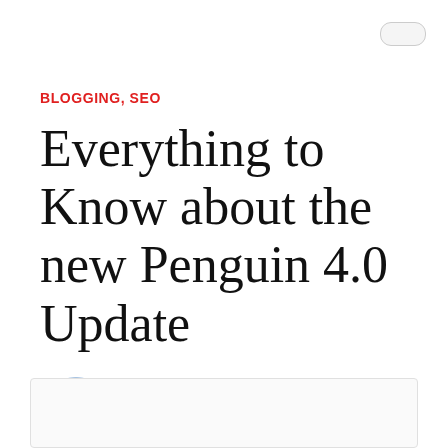BLOGGING, SEO
Everything to Know about the new Penguin 4.0 Update
Written by Walter Moore
Feb 19, 2017 · 2 min read ★
[Figure (photo): Circular avatar photo of Walter Moore, a man wearing glasses and a blue shirt]